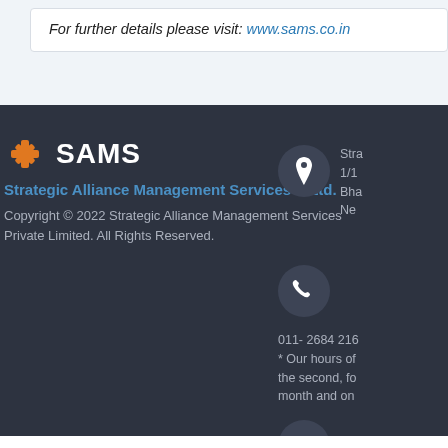For further details please visit: www.sams.co.in
SAMS | Strategic Alliance Management Services P Ltd. | Copyright © 2022 Strategic Alliance Management Services Private Limited. All Rights Reserved. | Address: Stra... 1/1... Bha... New... | Phone: 011- 2684 216... * Our hours of... the second, fo... month and on... | Email: con...